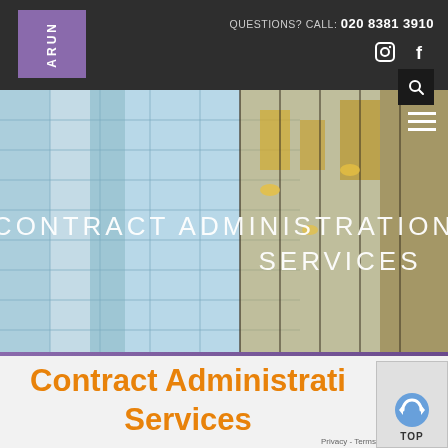QUESTIONS? CALL: 020 8381 3910
[Figure (logo): ARUN company logo — white text on purple square background]
[Figure (photo): Hero banner photo of glass building facade with CONTRACT ADMINISTRATION SERVICES text overlaid in white]
Contract Administration Services